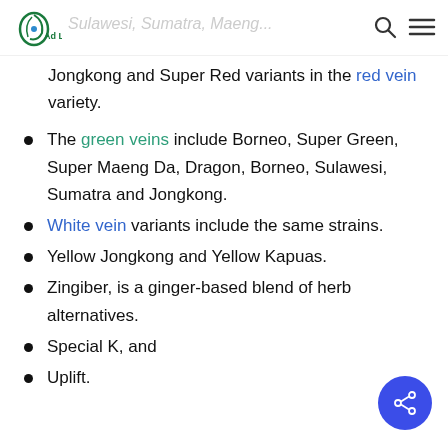Ad Life — Sulawesi, Sumatra, Maeng...
Jongkong and Super Red variants in the red vein variety.
The green veins include Borneo, Super Green, Super Maeng Da, Dragon, Borneo, Sulawesi, Sumatra and Jongkong.
White vein variants include the same strains.
Yellow Jongkong and Yellow Kapuas.
Zingiber, is a ginger-based blend of herb alternatives.
Special K, and
Uplift.